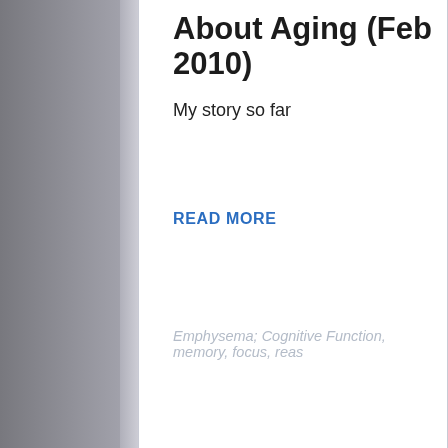About Aging (Feb 2010)
My story so far
READ MORE
Emphysema; Cognitive Function, memory, focus, reas
Posted on Nov 5, 2008
Newsletter #1
Newsletter of October 6, 2008